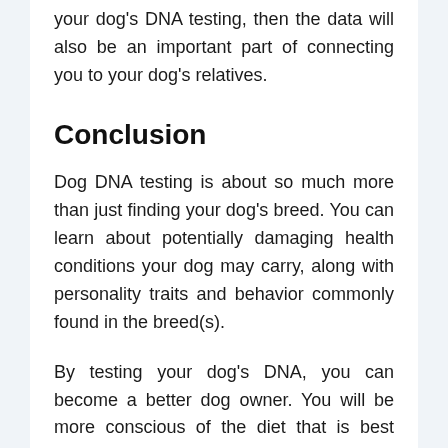your dog's DNA testing, then the data will also be an important part of connecting you to your dog's relatives.
Conclusion
Dog DNA testing is about so much more than just finding your dog's breed. You can learn about potentially damaging health conditions your dog may carry, along with personality traits and behavior commonly found in the breed(s).
By testing your dog's DNA, you can become a better dog owner. You will be more conscious of the diet that is best suited for the breed of dog you have. You will also be able to adjust their lifestyle based on which health conditions